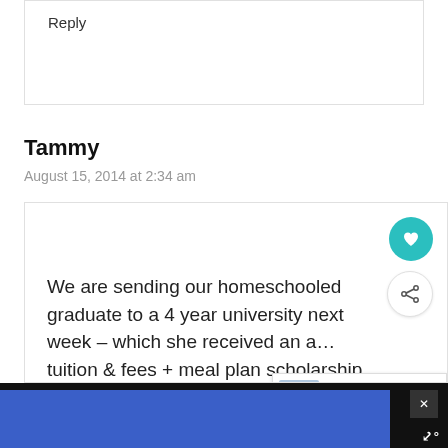Reply
Tammy
August 15, 2014 at 2:34 am
We are sending our homeschooled graduate to a 4 year university next week – which she received an a… tuition & fees + meal plan scholarship